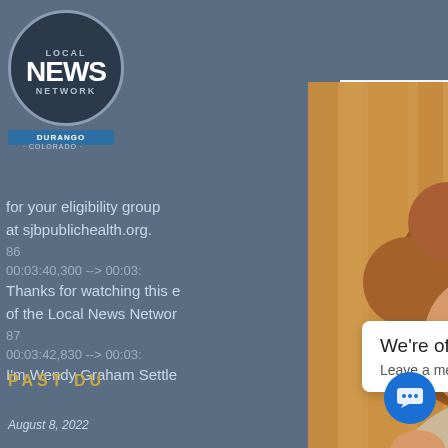[Figure (screenshot): Screenshot of Local News Network Durango Colorado website with logo, subtitle text content, a center photo of a woman smiling at a laptop, a right white panel with form inputs and orange button, an offline chat popup at the bottom, and a chat bubble icon.]
LOCAL NEWS NETWORK DURANGO COLORADO
for your eligibility group
at sjbpublichealth.org.
86
00:03:40,300 --> 00:03:
Thanks for watching this e
of the Local News Networ
87
00:03:42,830 --> 00:03:
I'm Wendy Graham Settle
PAST DU
August 8, 2022
We're offline
Leave a message